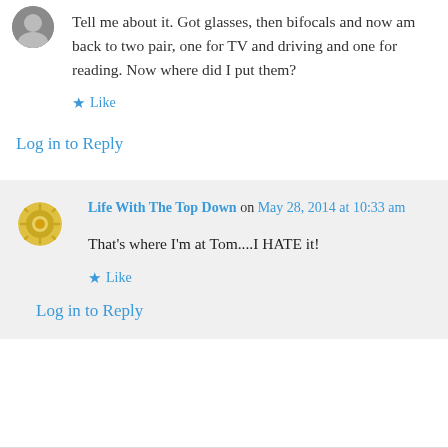[Figure (photo): Small circular avatar photo of a person in the top-left corner]
Tell me about it. Got glasses, then bifocals and now am back to two pair, one for TV and driving and one for reading. Now where did I put them?
Like
Log in to Reply
Life With The Top Down on May 28, 2014 at 10:33 am
[Figure (logo): Circular gold/yellow decorative sun or gear icon as avatar]
That's where I'm at Tom....I HATE it!
Like
Log in to Reply